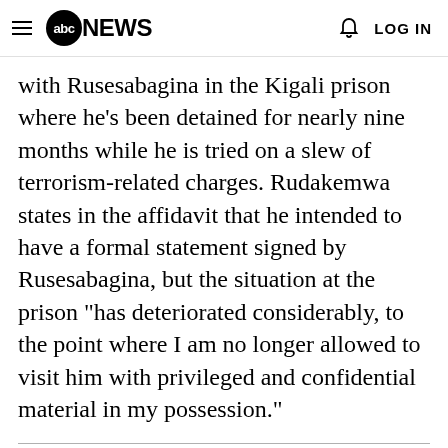abc NEWS  LOG IN
with Rusesabagina in the Kigali prison where he's been detained for nearly nine months while he is tried on a slew of terrorism-related charges. Rudakemwa states in the affidavit that he intended to have a formal statement signed by Rusesabagina, but the situation at the prison "has deteriorated considerably, to the point where I am no longer allowed to visit him with privileged and confidential material in my possession."
MORE: Paul Rusesabagina was called a hero after 'Hotel Rwanda,' now he's accused of terrorism